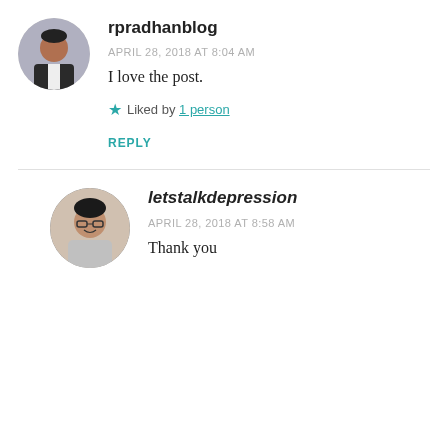[Figure (photo): Circular avatar photo of a man in a dark suit and white shirt]
rpradhanblog
APRIL 28, 2018 AT 8:04 AM
I love the post.
Liked by 1 person
REPLY
[Figure (photo): Circular avatar photo of a woman with glasses and dark hair]
letstalkdepression
APRIL 28, 2018 AT 8:58 AM
Thank you